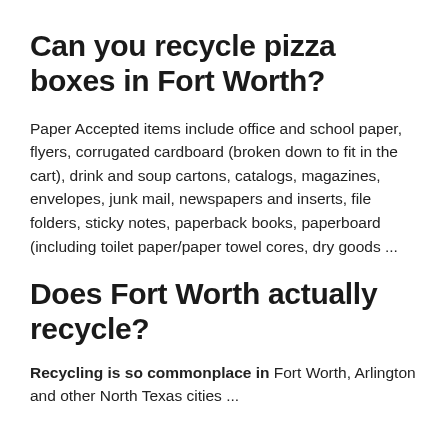Can you recycle pizza boxes in Fort Worth?
Paper Accepted items include office and school paper, flyers, corrugated cardboard (broken down to fit in the cart), drink and soup cartons, catalogs, magazines, envelopes, junk mail, newspapers and inserts, file folders, sticky notes, paperback books, paperboard (including toilet paper/paper towel cores, dry goods ...
Does Fort Worth actually recycle?
Recycling is so commonplace in Fort Worth, Arlington and other North Texas cities ...